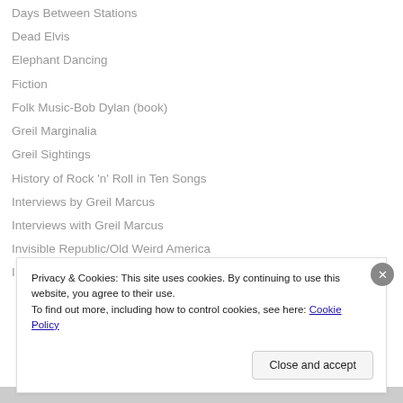Days Between Stations
Dead Elvis
Elephant Dancing
Fiction
Folk Music-Bob Dylan (book)
Greil Marginalia
Greil Sightings
History of Rock 'n' Roll in Ten Songs
Interviews by Greil Marcus
Interviews with Greil Marcus
Invisible Republic/Old Weird America
Privacy & Cookies: This site uses cookies. By continuing to use this website, you agree to their use. To find out more, including how to control cookies, see here: Cookie Policy
Close and accept